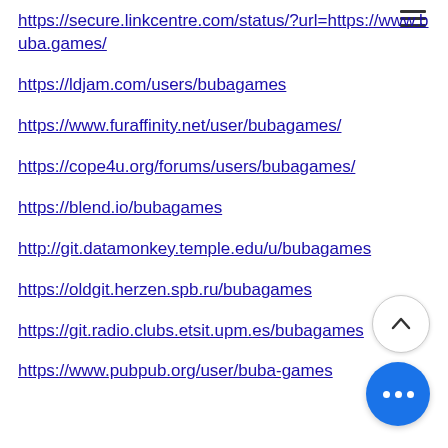https://secure.linkcentre.com/status/?url=https://www.buba.games/
https://ldjam.com/users/bubagames
https://www.furaffinity.net/user/bubagames/
https://cope4u.org/forums/users/bubagames/
https://blend.io/bubagames
http://git.datamonkey.temple.edu/u/bubagames
https://oldgit.herzen.spb.ru/bubagames
https://git.radio.clubs.etsit.upm.es/bubagames
https://www.pubpub.org/user/buba-games